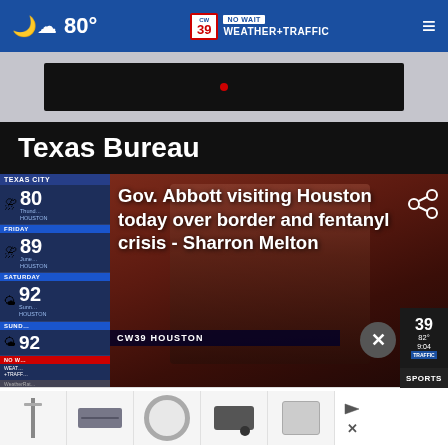80° CW39 NO WAIT WEATHER+TRAFFIC ≡
[Figure (screenshot): Dark video player thumbnail area]
Texas Bureau
[Figure (screenshot): News video screenshot showing man speaking into microphone with weather sidebar showing Texas City forecast: Thursday 80, Friday 89, Saturday 92, Sunday 92. Headline overlay reads: Gov. Abbott visiting Houston today over border and fentanyl crisis - Sharron Melton. CW39 HOUSTON lower-third bar visible. Share icon in top right. Close button (X). Bottom advertisement strip with product images.]
Gov. Abbott visiting Houston today over border and fentanyl crisis - Sharron Melton